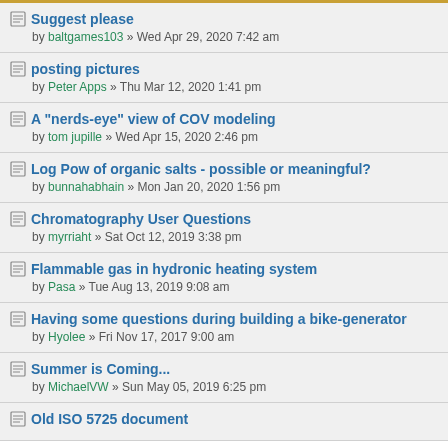Suggest please
by baltgames103 » Wed Apr 29, 2020 7:42 am
posting pictures
by Peter Apps » Thu Mar 12, 2020 1:41 pm
A "nerds-eye" view of COV modeling
by tom jupille » Wed Apr 15, 2020 2:46 pm
Log Pow of organic salts - possible or meaningful?
by bunnahabhain » Mon Jan 20, 2020 1:56 pm
Chromatography User Questions
by myrriaht » Sat Oct 12, 2019 3:38 pm
Flammable gas in hydronic heating system
by Pasa » Tue Aug 13, 2019 9:08 am
Having some questions during building a bike-generator
by Hyolee » Fri Nov 17, 2017 9:00 am
Summer is Coming...
by MichaelVW » Sun May 05, 2019 6:25 pm
Old ISO 5725 document